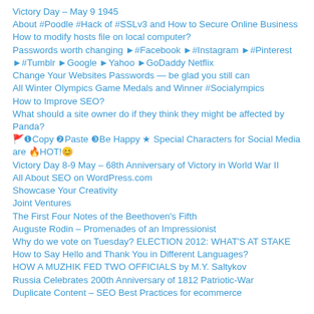Victory Day – May 9 1945
About #Poodle #Hack of #SSLv3 and How to Secure Online Business
How to modify hosts file on local computer?
Passwords worth changing ►#Facebook ►#Instagram ►#Pinterest ►#Tumblr ►Google ►Yahoo ►GoDaddy Netflix
Change Your Websites Passwords — be glad you still can
All Winter Olympics Game Medals and Winner #Socialympics
How to Improve SEO?
What should a site owner do if they think they might be affected by Panda?
🚩❶Copy ❷Paste ❸Be Happy ★ Special Characters for Social Media are 🔥HOT!😊
Victory Day 8-9 May – 68th Anniversary of Victory in World War II
All About SEO on WordPress.com
Showcase Your Creativity
Joint Ventures
The First Four Notes of the Beethoven's Fifth
Auguste Rodin – Promenades of an Impressionist
Why do we vote on Tuesday? ELECTION 2012: WHAT'S AT STAKE
How to Say Hello and Thank You in Different Languages?
HOW A MUZHIK FED TWO OFFICIALS by M.Y. Saltykov
Russia Celebrates 200th Anniversary of 1812 Patriotic-War
Duplicate Content – SEO Best Practices for ecommerce